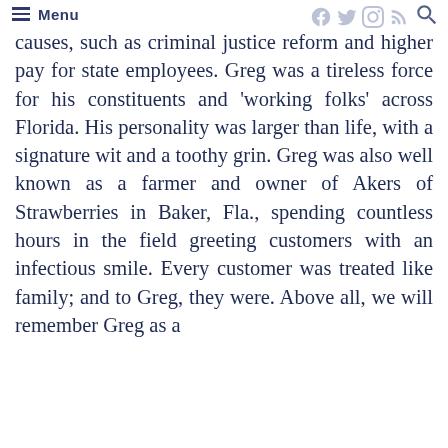Menu
causes, such as criminal justice reform and higher pay for state employees. Greg was a tireless force for his constituents and ‘working folks’ across Florida. His personality was larger than life, with a signature wit and a toothy grin. Greg was also well known as a farmer and owner of Akers of Strawberries in Baker, Fla., spending countless hours in the field greeting customers with an infectious smile. Every customer was treated like family; and to Greg, they were. Above all, we will remember Greg as a father, grandfather, and the...